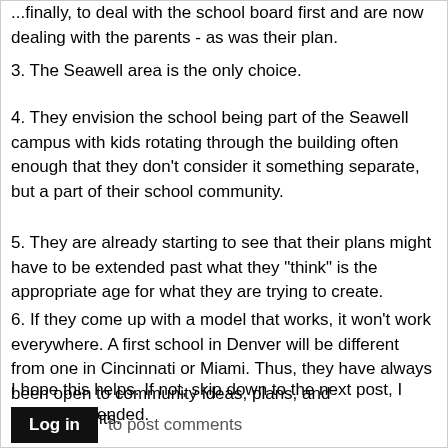...finally, to deal with the school board first and are now dealing with the parents - as was their plan.
3. The Seawell area is the only choice.
4. They envision the school being part of the Seawell campus with kids rotating through the building often enough that they don't consider it something separate, but a part of their school community.
5. They are already starting to see that their plans might have to be extended past what they "think" is the appropriate age for what they are trying to create.
6. If they come up with a model that works, it won't work everywhere. A first school in Denver will be different from one in Cincinnati or Miami. Thus, they have always been open to community ideas, plans, and arrangements.
I hope this helps. If not, skip down to the next post, I won't be offended.
Log in to post comments